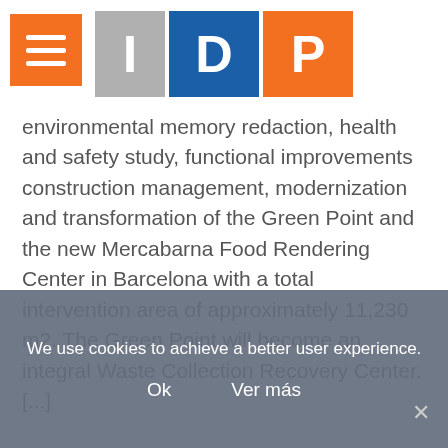[Figure (logo): IDP logo with three colored blocks: grey I, blue D, orange P]
environmental memory redaction, health and safety study, functional improvements construction management, modernization and transformation of the Green Point and the new Mercabarna Food Rendering Center in Barcelona with a total intervention area of approximately 11,230 m2. The Green Point will become an integral Waste Collection Recovery Center. [...]
[Figure (screenshot): Banner showing CONCURS label and partial text 'fomindustria' in red and blue large bold font on a grey background]
We use cookies to achieve a better user experience.
Ok   Ver más